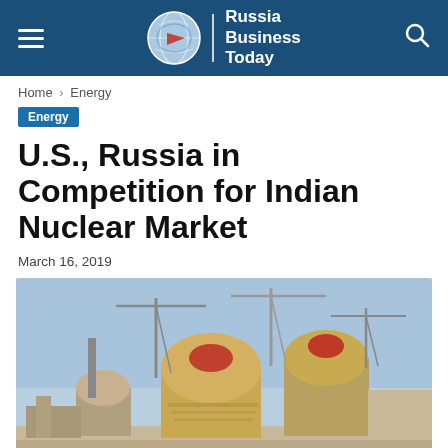Russia Business Today
Home › Energy
Energy
U.S., Russia in Competition for Indian Nuclear Market
March 16, 2019
[Figure (photo): Nuclear power plant under construction with large domed reactor buildings and construction cranes against a blue sky, industrial facility with yellow/beige structures]